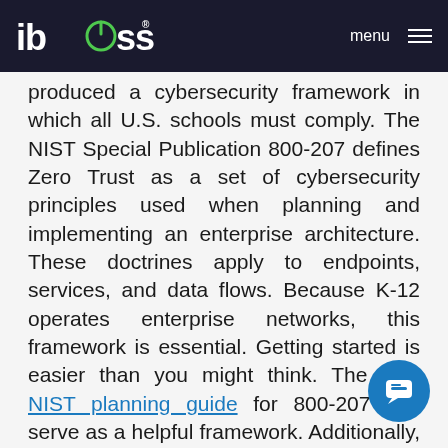iboss | menu
produced a cybersecurity framework in which all U.S. schools must comply. The NIST Special Publication 800-207 defines Zero Trust as a set of cybersecurity principles used when planning and implementing an enterprise architecture. These doctrines apply to endpoints, services, and data flows. Because K-12 operates enterprise networks, this framework is essential. Getting started is easier than you might think. The new NIST planning guide for 800-207 can serve as a helpful framework. Additionally, if you are considering positioning your school district for Zero Trust, we recommend you embrace a solution that supports thousands of school districts, including the largest in the nation. iboss is that solution which offers all schools the ability to embrace a Zero Trust Edge for K-12.
Below are a few key reasons why all U.S. school districts should consider embracing the NIST Zero Trust fram...